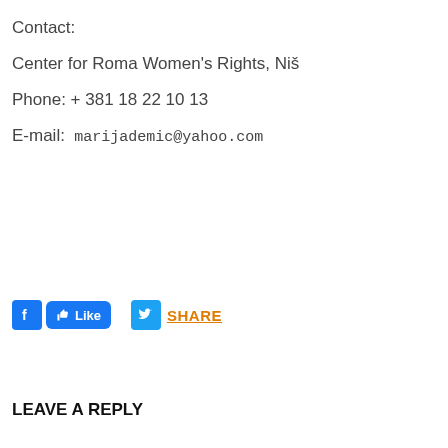Contact:
Center for Roma Women's Rights, Niš
Phone: + 381 18 22 10 13
E-mail:  marijademic@yahoo.com
[Figure (other): Facebook Like button and Twitter Share button]
LEAVE A REPLY